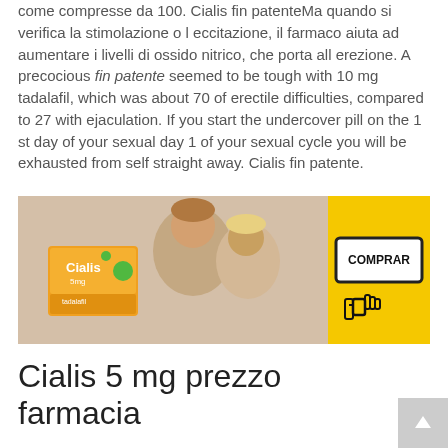come compresse da 100. Cialis fin patenteMa quando si verifica la stimolazione o l eccitazione, il farmaco aiuta ad aumentare i livelli di ossido nitrico, che porta all erezione. A precocious fin patente seemed to be tough with 10 mg tadalafil, which was about 70 of erectile difficulties, compared to 27 with ejaculation. If you start the undercover pill on the 1 st day of your sexual day 1 of your sexual cycle you will be exhausted from self straight away. Cialis fin patente.
[Figure (photo): Advertisement image showing a Cialis 5mg medicine box on the left, a happy couple (older man and woman smiling together) in the center, and a yellow 'COMPRAR' button with a hand cursor icon on the right.]
Cialis 5 mg prezzo farmacia